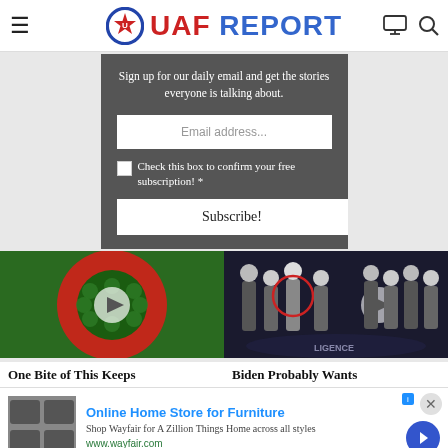UAF REPORT
Sign up for our daily email and get the stories everyone is talking about.
Email address...
Check this box to confirm your free subscription! *
Subscribe!
Promoted
[Figure (photo): Colorful flower-like fruit arrangement with play button overlay]
One Bite of This Keeps
[Figure (photo): Group of men in suits standing in a line with play button overlay, CIA logo visible on floor]
Biden Probably Wants
Online Home Store for Furniture
Shop Wayfair for A Zillion Things Home across all styles
www.wayfair.com